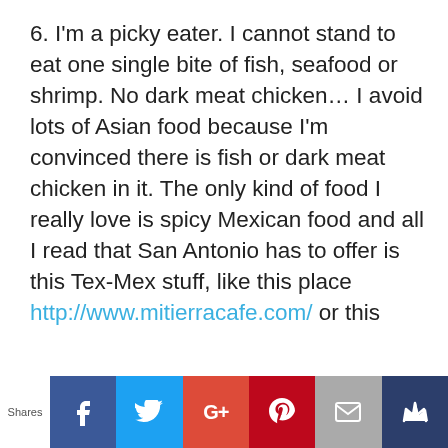6. I'm a picky eater. I cannot stand to eat one single bite of fish, seafood or shrimp. No dark meat chicken… I avoid lots of Asian food because I'm convinced there is fish or dark meat chicken in it. The only kind of food I really love is spicy Mexican food and all I read that San Antonio has to offer is this Tex-Mex stuff, like this place http://www.mitierracafe.com/ or this
[Figure (infographic): Social share bar with Shares label, Facebook, Twitter, Google+, Pinterest, Email, and crown/other buttons]